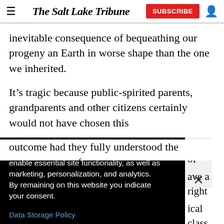The Salt Lake Tribune | SUBSCRIBE
inevitable consequence of bequeathing our progeny an Earth in worse shape than the one we inherited.
It’s tragic because public-spirited parents, grandparents and other citizens certainly would not have chosen this
sequences of … ave a right … ical class … a showing … dioxide,
This website stores data such as cookies to enable essential site functionality, as well as marketing, personalization, and analytics. By remaining on this website you indicate your consent.
Data Storage Policy